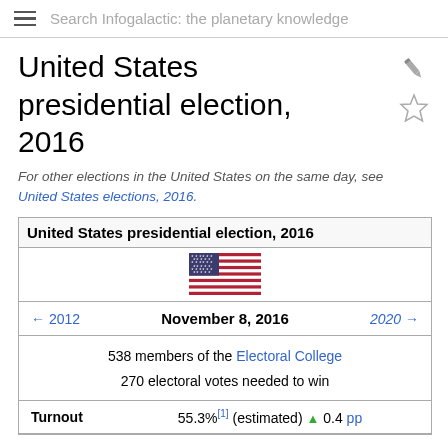Search Infogalactic: the planetary knowledge
United States presidential election, 2016
For other elections in the United States on the same day, see United States elections, 2016.
| ← 2012 | November 8, 2016 | 2020 → |
|  | 538 members of the Electoral College
270 electoral votes needed to win |  |
| Turnout | 55.3%[1] (estimated) ▲ 0.4 pp |  |